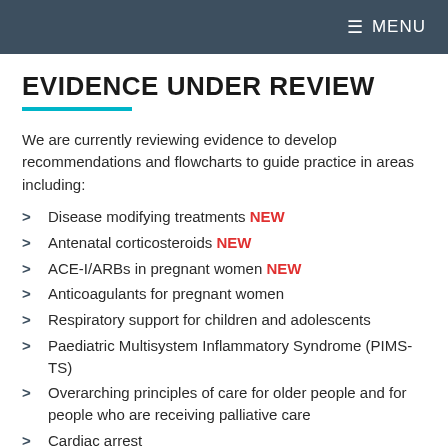≡ MENU
EVIDENCE UNDER REVIEW
We are currently reviewing evidence to develop recommendations and flowcharts to guide practice in areas including:
Disease modifying treatments NEW
Antenatal corticosteroids NEW
ACE-I/ARBs in pregnant women NEW
Anticoagulants for pregnant women
Respiratory support for children and adolescents
Paediatric Multisystem Inflammatory Syndrome (PIMS-TS)
Overarching principles of care for older people and for people who are receiving palliative care
Cardiac arrest